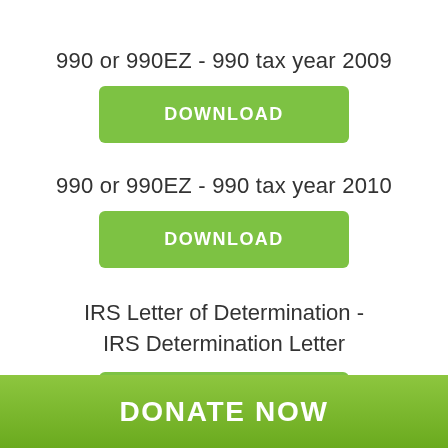990 or 990EZ - 990 tax year 2009
DOWNLOAD
990 or 990EZ - 990 tax year 2010
DOWNLOAD
IRS Letter of Determination - IRS Determination Letter
DOWNLOAD
DONATE NOW